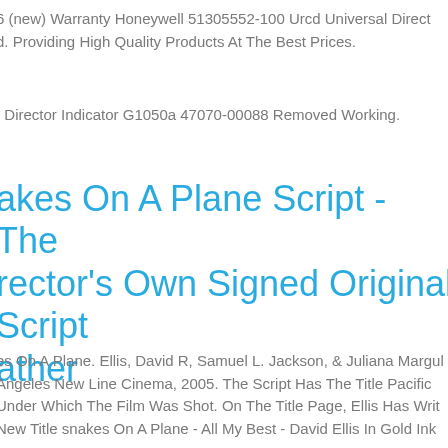6 (new) Warranty Honeywell 51305552-100 Urcd Universal Direct d. Providing High Quality Products At The Best Prices.
t Director Indicator G1050a 47070-00088 Removed Working.
akes On A Plane Script - The rector's Own Signed Original Script ather
es On A Plane. Ellis, David R, Samuel L. Jackson, & Juliana Margul Angeles New Line Cinema, 2005. The Script Has The Title Pacific Under Which The Film Was Shot. On The Title Page, Ellis Has Writ New Title snakes On A Plane - All My Best - David Ellis In Gold Ink
rtkeys Mt22 21.5 Inch Sdi Hdr 4k